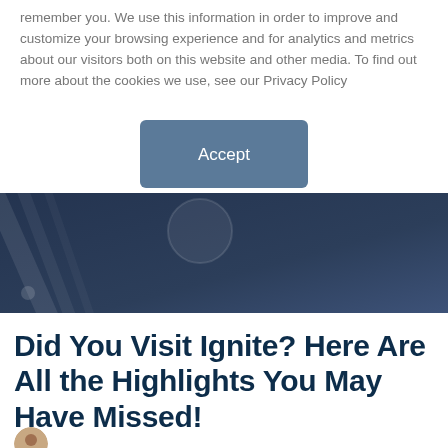remember you. We use this information in order to improve and customize your browsing experience and for analytics and metrics about our visitors both on this website and other media. To find out more about the cookies we use, see our Privacy Policy
[Figure (other): Accept button – a rectangular button with rounded corners, steel blue background, white text reading 'Accept']
[Figure (other): Dark navy decorative banner strip with diagonal lines, a faint circle, and dot decorative elements]
Did You Visit Ignite? Here Are All the Highlights You May Have Missed!
[Figure (photo): Partial circular author avatar photo at bottom left]